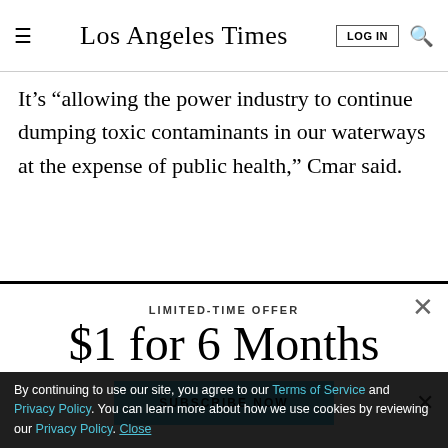Los Angeles Times
It’s “allowing the power industry to continue dumping toxic contaminants in our waterways at the expense of public health,” Cmar said.
LIMITED-TIME OFFER
$1 for 6 Months
SUBSCRIBE NOW
By continuing to use our site, you agree to our Terms of Service and Privacy Policy. You can learn more about how we use cookies by reviewing our Privacy Policy. Close